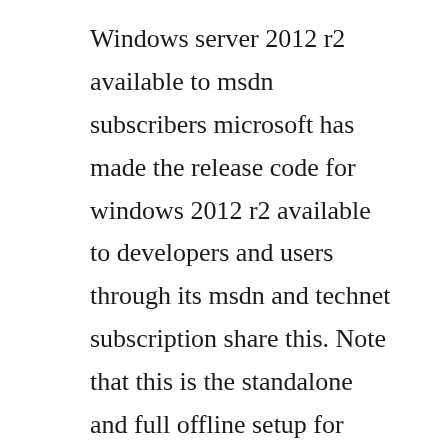Windows server 2012 r2 available to msdn subscribers microsoft has made the release code for windows 2012 r2 available to developers and users through its msdn and technet subscription share this. Note that this is the standalone and full offline setup for installing this operating system. Try windows server 2012 r2 on microsoft evaluation center. It comprises a database specifically targeted for embedded and smallerscale applications.
Download resources and applications for windows 10, windows 8, windows 7,